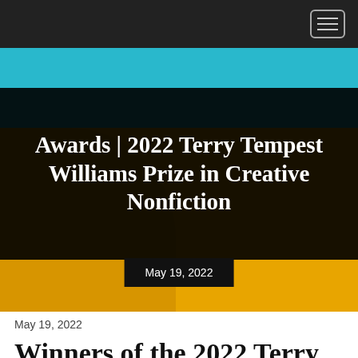[Figure (photo): Hero banner image with teal top section and golden-yellow textured bottom section, overlaid with a black rectangle containing the article title and a date badge below.]
Awards | 2022 Terry Tempest Williams Prize in Creative Nonfiction
May 19, 2022
May 19, 2022
Winners of the 2022 Terry